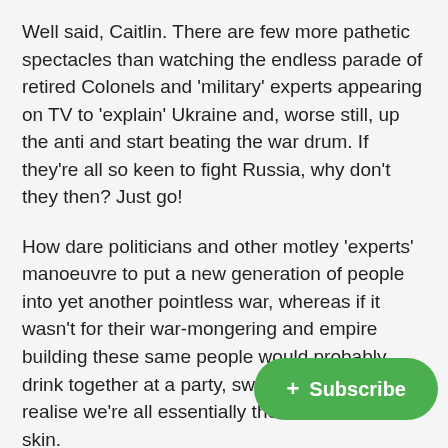Well said, Caitlin. There are few more pathetic spectacles than watching the endless parade of retired Colonels and 'military' experts appearing on TV to 'explain' Ukraine and, worse still, up the anti and start beating the war drum. If they're all so keen to fight Russia, why don't they then? Just go!
How dare politicians and other motley 'experts' manoeuvre to put a new generation of people into yet another pointless war, whereas if it wasn't for their war-mongering and empire building these same people would probably drink together at a party, swap life stories, and realise we're all essentially the same under the skin.
I'm from NZ. In this country we used to march blindly wherever the British Empire went. Now we march blindly wherever the American Em... we support sanctions against Russ... against Russian civilians, and are 'training' Ukrainian